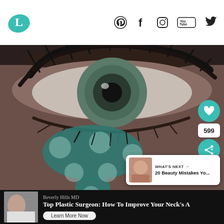L [logo] | Pinterest | Facebook | Instagram | YouTube | Twitter
[Figure (photo): Close-up of a human eye with long lashes and a teal/green paddle-shaped tool with polka dots placed below the eye against a dark brownish background. Heart button (599 shares), and What's Next panel visible on right.]
WHAT'S NEXT → 20 Beauty Mistakes Yo...
Beverly Hills MD
Top Plastic Surgeon: How To Improve Your Neck's A...
Learn More Now